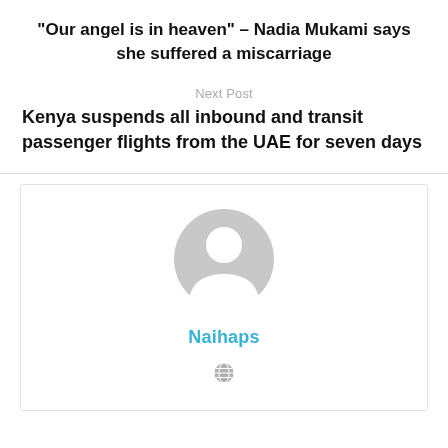“Our angel is in heaven” – Nadia Mukami says she suffered a miscarriage
Next Post
Kenya suspends all inbound and transit passenger flights from the UAE for seven days
[Figure (illustration): Author avatar placeholder: grey circular silhouette of a person]
Naihaps
[Figure (illustration): Small grey globe/website icon]